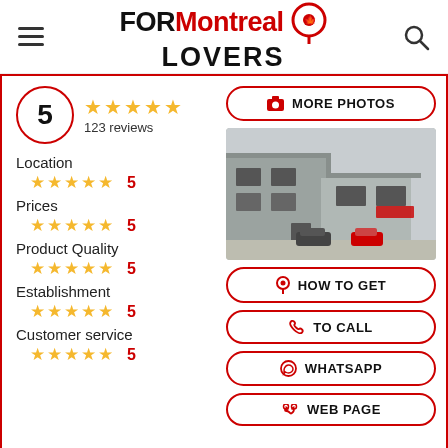FORMontreal LOVERS
5 ★★★★★ 123 reviews
Location ★★★★★ 5
Prices ★★★★★ 5
Product Quality ★★★★★ 5
Establishment ★★★★★ 5
Customer service ★★★★★ 5
[Figure (screenshot): Button: MORE PHOTOS]
[Figure (photo): Exterior photo of a grey commercial/industrial building with cars parked in front]
[Figure (screenshot): Button: HOW TO GET]
[Figure (screenshot): Button: TO CALL]
[Figure (screenshot): Button: WHATSAPP]
[Figure (screenshot): Button: WEB PAGE]